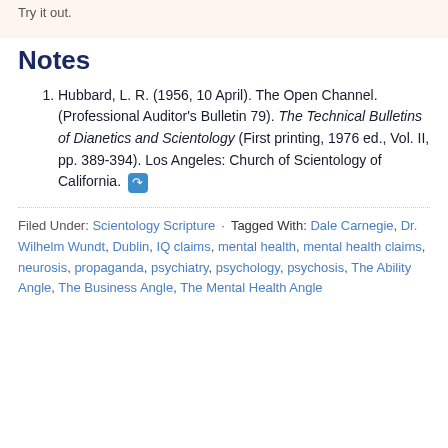Try it out.
Notes
Hubbard, L. R. (1956, 10 April). The Open Channel. (Professional Auditor's Bulletin 79). The Technical Bulletins of Dianetics and Scientology (First printing, 1976 ed., Vol. II, pp. 389-394). Los Angeles: Church of Scientology of California.
Filed Under: Scientology Scripture · Tagged With: Dale Carnegie, Dr. Wilhelm Wundt, Dublin, IQ claims, mental health, mental health claims, neurosis, propaganda, psychiatry, psychology, psychosis, The Ability Angle, The Business Angle, The Mental Health Angle